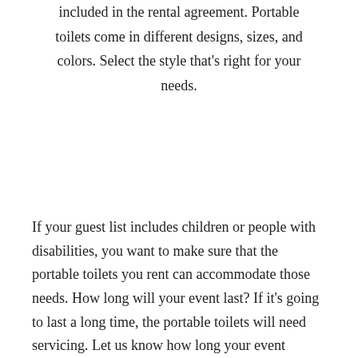included in the rental agreement. Portable toilets come in different designs, sizes, and colors. Select the style that's right for your needs.
If your guest list includes children or people with disabilities, you want to make sure that the portable toilets you rent can accommodate those needs. How long will your event last? If it's going to last a long time, the portable toilets will need servicing. Let us know how long your event